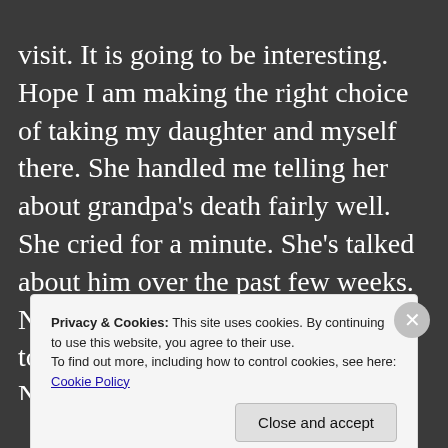visit. It is going to be interesting. Hope I am making the right choice of taking my daughter and myself there. She handled me telling her about grandpa's death fairly well. She cried for a minute. She's talked about him over the past few weeks. Not sure how she will handle tomorrow. I have been fairly numb. Not really because of his passing. Like I said, we knew it was
Privacy & Cookies: This site uses cookies. By continuing to use this website, you agree to their use.
To find out more, including how to control cookies, see here: Cookie Policy
Close and accept